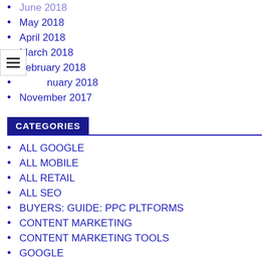June 2018
May 2018
April 2018
March 2018
February 2018
January 2018
November 2017
CATEGORIES
ALL GOOGLE
ALL MOBILE
ALL RETAIL
ALL SEO
BUYERS: GUIDE: PPC PLTFORMS
CONTENT MARKETING
CONTENT MARKETING TOOLS
GOOGLE